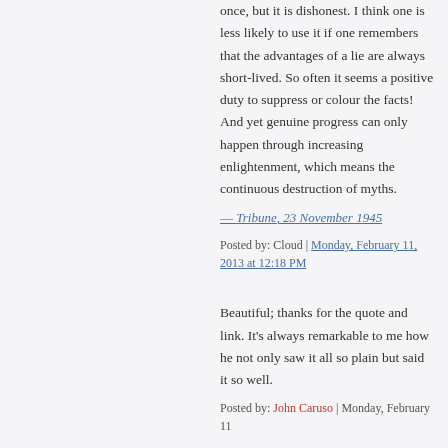once, but it is dishonest. I think one is less likely to use it if one remembers that the advantages of a lie are always short-lived. So often it seems a positive duty to suppress or colour the facts! And yet genuine progress can only happen through increasing enlightenment, which means the continuous destruction of myths.
— Tribune, 23 November 1945
Posted by: Cloud | Monday, February 11, 2013 at 12:18 PM
Beautiful; thanks for the quote and link. It's always remarkable to me how he not only saw it all so plain but said it so well.
Posted by: John Caruso | Monday, February 11